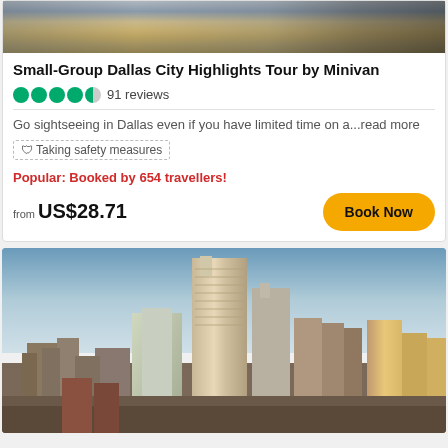[Figure (photo): Top portion of a Dallas city tour minivan/street scene photo]
Small-Group Dallas City Highlights Tour by Minivan
91 reviews (4.5 star rating)
Go sightseeing in Dallas even if you have limited time on a...read more
Taking safety measures
Popular: Booked by 654 travellers!
from US$28.71
[Figure (photo): Dallas city skyline at dusk/sunset with tall skyscrapers including the distinctive Fountain Place tower]